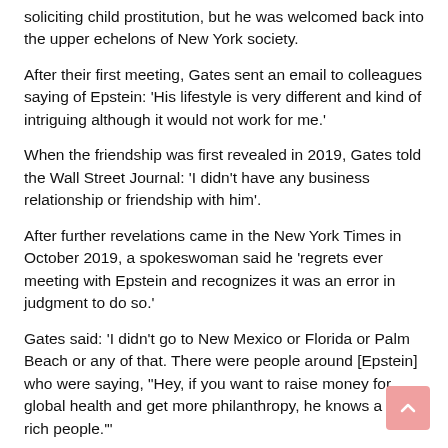soliciting child prostitution, but he was welcomed back into the upper echelons of New York society.
After their first meeting, Gates sent an email to colleagues saying of Epstein: 'His lifestyle is very different and kind of intriguing although it would not work for me.'
When the friendship was first revealed in 2019, Gates told the Wall Street Journal: 'I didn't have any business relationship or friendship with him'.
After further revelations came in the New York Times in October 2019, a spokeswoman said he 'regrets ever meeting with Epstein and recognizes it was an error in judgment to do so.'
Gates said: 'I didn't go to New Mexico or Florida or Palm Beach or any of that. There were people around [Epstein] who were saying, "Hey, if you want to raise money for global health and get more philanthropy, he knows a lot of rich people."'
After the latest claims were put to Gates, his spokeswoman said the 'characterization of his meetings with Epstein and